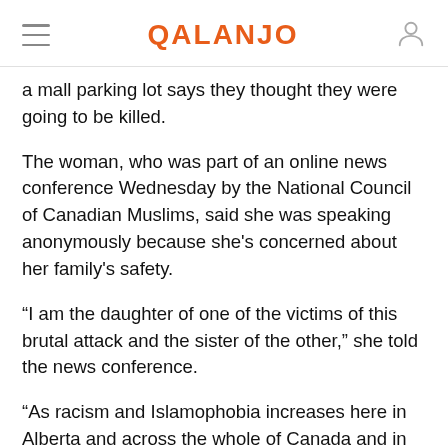QALANJO
a mall parking lot says they thought they were going to be killed.
The woman, who was part of an online news conference Wednesday by the National Council of Canadian Muslims, said she was speaking anonymously because she's concerned about her family's safety.
“I am the daughter of one of the victims of this brutal attack and the sister of the other,” she told the news conference.
“As racism and Islamophobia increases here in Alberta and across the whole of Canada and in various parts of the world, we are taking every possible precaution to protect the dignity and well-being of my family.”
Police have said two women wearing hijabs were sitting in a